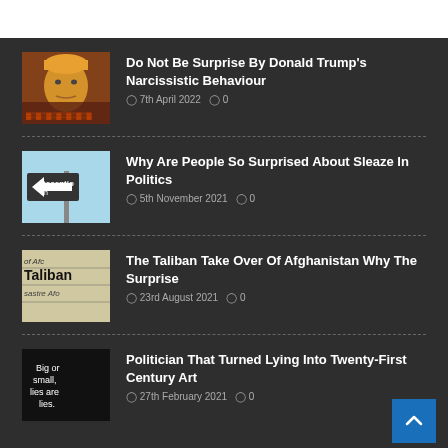Do Not Be Surprise By Donald Trump's Narcissistic Behaviour — 7th April 2022 — 0 comments
Why Are People So Surprised About Sleaze In Politics — 5th November 2021 — 0 comments
The Taliban Take Over Of Afghanistan Why The Surprise — 23rd August 2021 — 0 comments
Politician That Turned Lying Into Twenty-First Century Art — 27th February 2021 — 0 comments